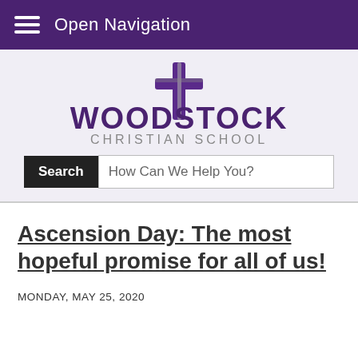Open Navigation
[Figure (logo): Woodstock Christian School logo with cross icon and text 'WOODSTOCK CHRISTIAN SCHOOL']
Search  How Can We Help You?
Ascension Day: The most hopeful promise for all of us!
MONDAY, MAY 25, 2020